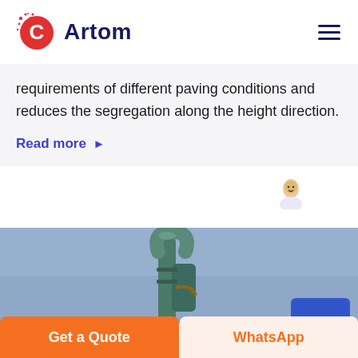Artom
requirements of different paving conditions and reduces the segregation along the height direction.
Read more ▶
[Figure (photo): Industrial equipment — metallic pipe/tube equipment with curved top against a blue sky background]
Get a Quote | WhatsApp